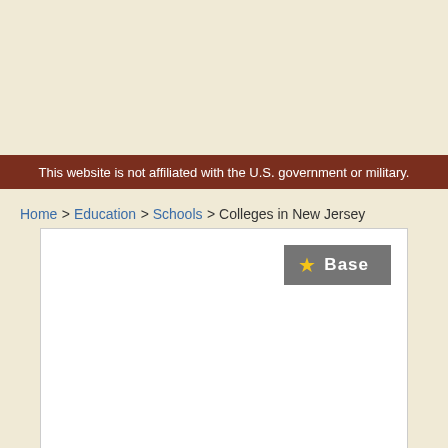This website is not affiliated with the U.S. government or military.
Home > Education > Schools > Colleges in New Jersey
[Figure (other): Content box with a gray 'Base' button featuring a yellow star icon in the top-right corner]